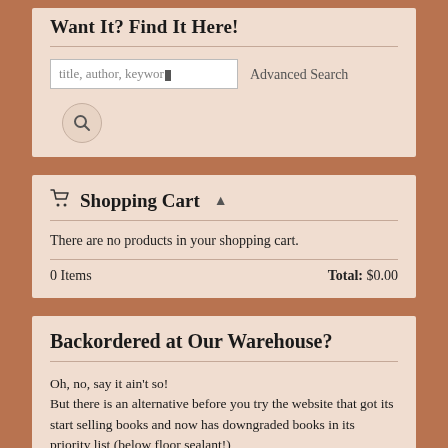Want It? Find It Here!
Advanced Search
Shopping Cart
There are no products in your shopping cart.
0 Items    Total: $0.00
Backordered at Our Warehouse?
Oh, no, say it ain't so!
But there is an alternative before you try the website that got its start selling books and now has downgraded books in its priority list (below floor sealant!)
Thank you for your support!
For those of you not interested in ordering from that largest river in South America that rivals the Mississippi and the Nile, but BoF is out of